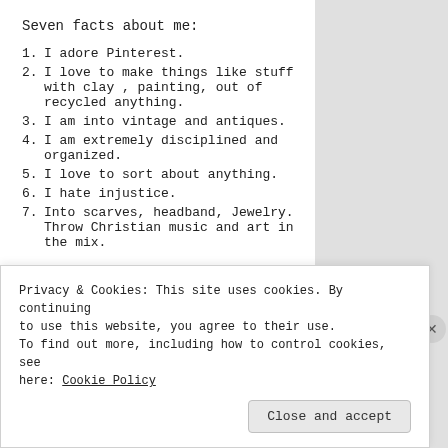Seven facts about me:
1. I adore Pinterest.
2. I love to make things like stuff with clay , painting, out of recycled anything.
3. I am into vintage and antiques.
4. I am extremely disciplined and organized.
5. I love to sort about anything.
6. I hate injustice.
7. Into scarves, headband, Jewelry. Throw Christian music and art in the mix.
Privacy & Cookies: This site uses cookies. By continuing to use this website, you agree to their use. To find out more, including how to control cookies, see here: Cookie Policy
Close and accept